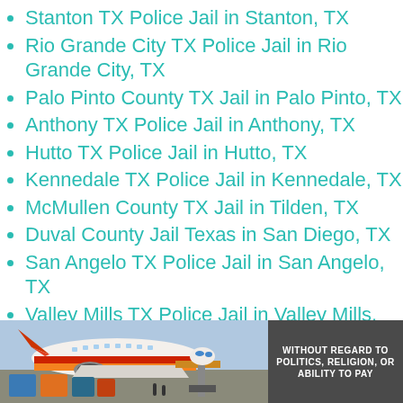Stanton TX Police Jail in Stanton, TX
Rio Grande City TX Police Jail in Rio Grande City, TX
Palo Pinto County TX Jail in Palo Pinto, TX
Anthony TX Police Jail in Anthony, TX
Hutto TX Police Jail in Hutto, TX
Kennedale TX Police Jail in Kennedale, TX
McMullen County TX Jail in Tilden, TX
Duval County Jail Texas in San Diego, TX
San Angelo TX Police Jail in San Angelo, TX
Valley Mills TX Police Jail in Valley Mills, TX
Parmer County TX Jail in Farwell, TX
FCI – Texarkana Satellite Prison Camp – Minimum in Texarkana, TX
[Figure (photo): Advertisement banner showing an airplane being loaded with cargo, with text 'WITHOUT REGARD TO POLITICS, RELIGION, OR ABILITY TO PAY' on a dark background.]